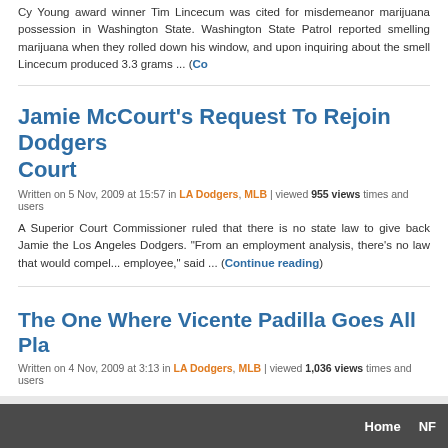Cy Young award winner Tim Lincecum was cited for misdemeanor marijuana possession in Washington State. Washington State Patrol reported smelling marijuana when they rolled down his window, and upon inquiring about the smell Lincecum produced 3.3 grams ... (Co...
Jamie McCourt's Request To Rejoin Dodgers Denied By Court
Written on 5 Nov, 2009 at 15:57 in LA Dodgers, MLB | viewed 955 views times and users...
A Superior Court Commissioner ruled that there is no state law to give back Jamie the Los Angeles Dodgers. "From an employment analysis, there's no law that wou... employee," said ... (Continue reading)
The One Where Vicente Padilla Goes All Pla...
Written on 4 Nov, 2009 at 3:13 in LA Dodgers, MLB | viewed 1,036 views times and users...
It has been a short-lived offseason for the Los Angeles Dodgers, but already yet the organization seem more like a soap opera than a Major League Baseball... Tuesday confirmed ... (Continue reading)
Home  NFL